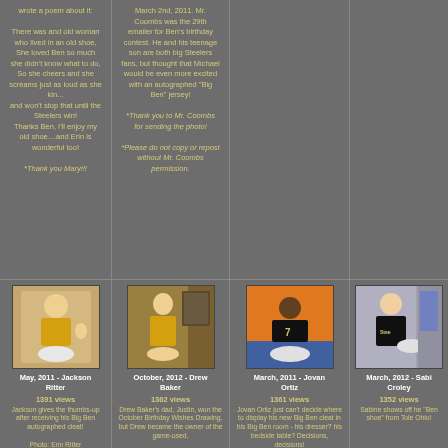wrote a poem about it:

There was and old woman who lived in an old shoe,
She loved Ben so much she didn't know what to do,
So she cheers and she screams just as loud as she kin...
and won't stop that until the Steelers win!
Thanks Ben, I'll enjoy my old shoe....and Erin is wonderful too!

*Thank you Mary!!!
March 2nd, 2011. Mr. Coombs was the 29th emailer for Ben's birthday contest. He and his teenage son are both big Steelers fans, but thought that Michael would be even more excited with an autographed "Big Ben" jersey!

*Thank you to Mr. Coombs for sending the photo!

*Please do not copy or repost without Mr. Coombs permission.
[Figure (photo): Empty/dark gray cell - no image shown]
[Figure (photo): Empty/dark gray cell - no image shown]
[Figure (photo): Young boy in yellow shirt giving thumbs up, holding a Big Ben autographed cleat]
May, 2011 - Jackson Ritter
1391 views
Jackson gives the thumbs-up after receiving his Big Ben autographed cleat!

Photo: Erin Ritter
[Figure (photo): Teen girl with glasses in yellow Steelers gear holding a cleat, painting on wall behind]
October, 2012 - Drew Baker
1362 views
Drew Baker's dad, Justin, won the October Birthday Wishes Drawing, but Drew became the owner of the game-used,
[Figure (photo): Young boy in Steelers jersey (#7) leaning over a cleat on a table]
March, 2011 - Jovan Ortiz
1361 views
Jovan Ortiz just can't decide where to display his new Big Ben cleat in his Big Ben room - his dresser? his bedside table? Decisions, decisions!
[Figure (photo): Older woman in Steelers shirt holding a cleat, photo partially cut off]
March, 2012 - Sabine Croley
1352 views
Sabine shows off her "Ben shoe" from Toledo, Ohio!